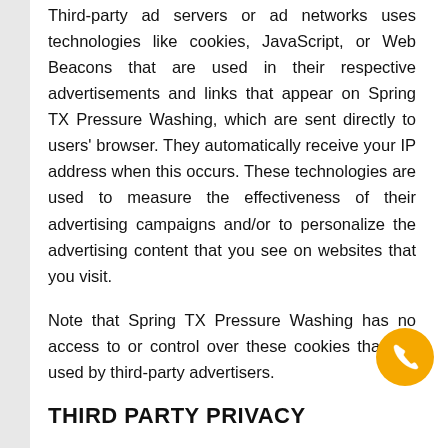Third-party ad servers or ad networks uses technologies like cookies, JavaScript, or Web Beacons that are used in their respective advertisements and links that appear on Spring TX Pressure Washing, which are sent directly to users' browser. They automatically receive your IP address when this occurs. These technologies are used to measure the effectiveness of their advertising campaigns and/or to personalize the advertising content that you see on websites that you visit.
Note that Spring TX Pressure Washing has no access to or control over these cookies that are used by third-party advertisers.
THIRD PARTY PRIVACY